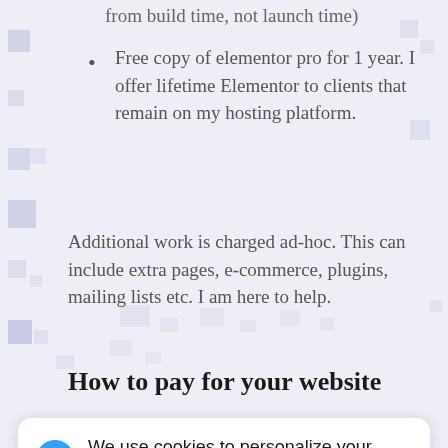from build time, not launch time)
Free copy of elementor pro for 1 year. I offer lifetime Elementor to clients that remain on my hosting platform.
Additional work is charged ad-hoc. This can include extra pages, e-commerce, plugins, mailing lists etc. I am here to help.
How to pay for your website
We use cookies to personalize your experience. By continuing to visit this website you agree to our use of cookies.
GOT IT   Read our cookie Policy